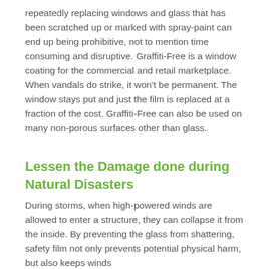repeatedly replacing windows and glass that has been scratched up or marked with spray-paint can end up being prohibitive, not to mention time consuming and disruptive. Graffiti-Free is a window coating for the commercial and retail marketplace. When vandals do strike, it won't be permanent. The window stays put and just the film is replaced at a fraction of the cost. Graffiti-Free can also be used on many non-porous surfaces other than glass.
Lessen the Damage done during Natural Disasters
During storms, when high-powered winds are allowed to enter a structure, they can collapse it from the inside. By preventing the glass from shattering, safety film not only prevents potential physical harm, but also keeps winds